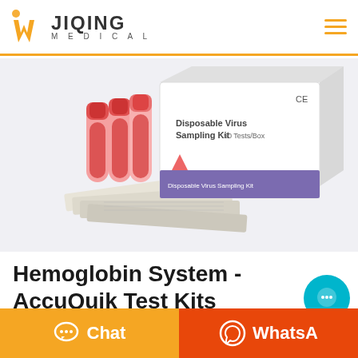JIQING MEDICAL
[Figure (photo): Product photo showing a Disposable Virus Sampling Kit box (white and purple, CE marked, 50 Tests/Box) alongside three red-capped collection tubes and several individually wrapped swab test strips arranged in front.]
Hemoglobin System - AccuQuik Test Kits
Chat
WhatsA